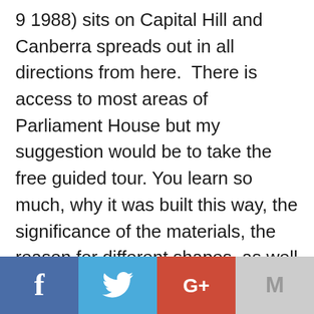9 1988) sits on Capital Hill and Canberra spreads out in all directions from here.  There is access to most areas of Parliament House but my suggestion would be to take the free guided tour. You learn so much, why it was built this way, the significance of the materials, the reason for different shapes, as well as how the constitution operates. My guide also had some trivia facts which made me laugh! There is also a more in-depth tour which has a fee. I enjoyed looking at the portraits of all the Australian Prime Ministers which are hanging in one of the areas.
[Figure (infographic): Social sharing bar with four buttons: Facebook (blue, f icon), Twitter (light blue, bird icon), Google+ (red-orange, G+ icon), Gmail/Google (light grey, M icon)]